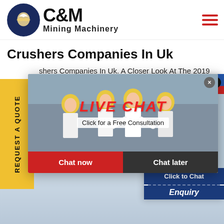[Figure (logo): C&M Mining Machinery logo with eagle gear emblem and hamburger menu icon]
Crushers Companies In Uk
shers Companies In Uk. A Closer Look At The 2019
dors Ev ... looking f...
wdfundi...
ning, bu...
totype.
cessories 2017 Edition Roadshow
ilable for 20 in the UK AU30 in Au...
udes an integrated cablema...
[Figure (screenshot): Live Chat popup with construction workers photo, LIVE CHAT heading in red, Click for a Free Consultation text, Chat now and Chat later buttons]
[Figure (screenshot): Right side chat widget showing Hours Online banner, female agent with headset, Click to Chat blue button, and Enquiry text]